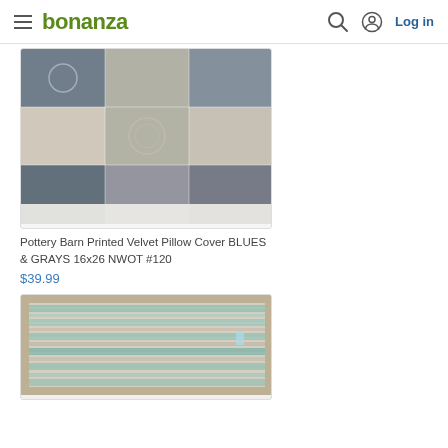bonanza | Log in
[Figure (photo): Pottery Barn patchwork printed velvet pillow cover in blues and grays, shown folded, with geometric and medallion patterns in a grid layout]
Pottery Barn Printed Velvet Pillow Cover BLUES & GRAYS 16x26 NWOT #120
$39.99
[Figure (photo): Woven fabric mat or rug with teal/mint and beige horizontal stripe and chevron patterns, placed on wood surface]